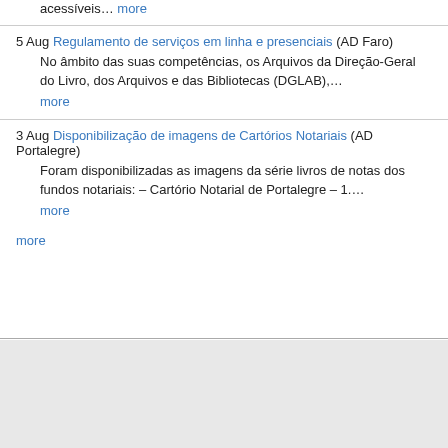acessíveis… more
5 Aug Regulamento de serviços em linha e presenciais (AD Faro)
No âmbito das suas competências, os Arquivos da Direção-Geral do Livro, dos Arquivos e das Bibliotecas (DGLAB),… more
3 Aug Disponibilização de imagens de Cartórios Notariais (AD Portalegre)
Foram disponibilizadas as imagens da série livros de notas dos fundos notariais: – Cartório Notarial de Portalegre – 1.… more
more
Privacy policy
© 2013-2021 João Ventura - All rights reserved. Catalogue and detailed information on the linked resources are © the respective Archives.